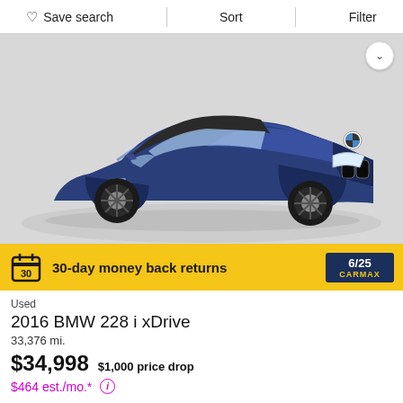Save search | Sort | Filter
[Figure (photo): Blue 2016 BMW 228i xDrive convertible photographed on a white turntable from a front three-quarter angle]
30-day money back returns  6/25 CARMAX
Used
2016 BMW 228 i xDrive
33,376 mi.
$34,998  $1,000 price drop
$464 est./mo.*